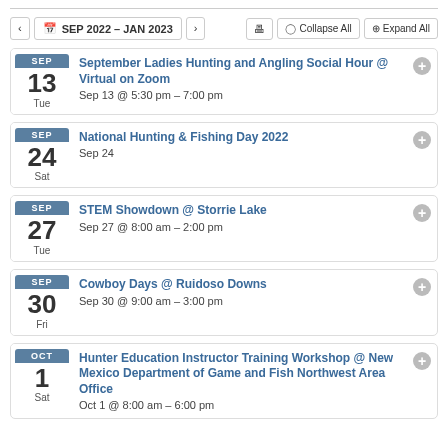SEP 2022 – JAN 2023
September Ladies Hunting and Angling Social Hour @ Virtual on Zoom
Sep 13 @ 5:30 pm – 7:00 pm
National Hunting & Fishing Day 2022
Sep 24
STEM Showdown @ Storrie Lake
Sep 27 @ 8:00 am – 2:00 pm
Cowboy Days @ Ruidoso Downs
Sep 30 @ 9:00 am – 3:00 pm
Hunter Education Instructor Training Workshop @ New Mexico Department of Game and Fish Northwest Area Office
Oct 1 @ 8:00 am – 6:00 pm